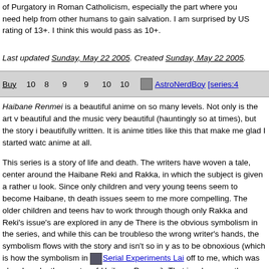of Purgatory in Roman Catholicism, especially the part where you need help from other humans to gain salvation. I am surprised by US rating of 13+. I think this would pass as 10+.
Last updated Sunday, May 22 2005. Created Sunday, May 22 2005.
| Buy | 10 | 8 | 9 | 9 | 10 | 10 | AstroNerdBoy | [series:4... |
| --- | --- | --- | --- | --- | --- | --- | --- | --- |
Haibane Renmei is a beautiful anime on so many levels. Not only is the art very beautiful and the music very beautiful (hauntingly so at times), but the story is beautifully written. It is anime titles like this that make me glad I started watching anime at all.
This series is a story of life and death. The writers have woven a tale, centered around the Haibane Reki and Rakka, in which the subject is given a rather unique look. Since only children and very young teens seem to become Haibane, the life and death issues seem to me more compelling. The older children and teens have issues to work through though only Rakka and Reki's issue's are explored in any depth. There is the obvious symbolism in the series, and while this can be troublesome in the wrong writer's hands, the symbolism flows with the story and isn't so in your face as to be obnoxious (which is how the symbolism in Serial Experiments Lain came off to me, which was also done by the creator of Haibane Renmei). That is good because the symbolism in the story is really important.
Normally I complain about a lack of solid answers in anime titles. This is because I feel things need to be explored and when writers fail to do so, it annoys me. However, for Haibane Renmei, I find I have no such complaints. Why? Because the symbolism combined with certain hints given along the way provide enough of a vehicle for me to understand without fully knowing (if that makes sense). For example, I have a strong understanding of who the Haibane really are. How they arive at the walls of old home and why (a common film with humans in it) is not certain, but this...